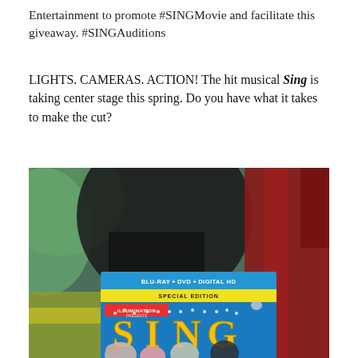Entertainment to promote #SINGMovie and facilitate this giveaway. #SINGAuditions
LIGHTS. CAMERAS. ACTION! The hit musical Sing is taking center stage this spring. Do you have what it takes to make the cut?
[Figure (photo): Photo of a Sing Blu-ray + DVD + Digital HD Special Edition movie case held in front of a blurred background with green and red fabric.]